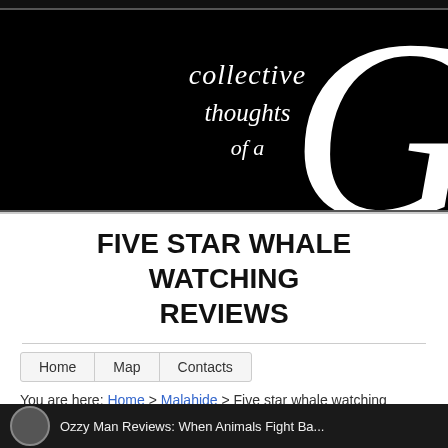[Figure (illustration): Website header banner with black background, cursive white text reading 'collective thoughts of a' and a large decorative letter G on the right]
FIVE STAR WHALE WATCHING REVIEWS
Home | Map | Contacts
You are here: Home > Malahide > Five star whale watching reviews
[Figure (screenshot): Bottom preview bar showing Ozzy Man Reviews: When Animals Fight Back thumbnail with avatar]